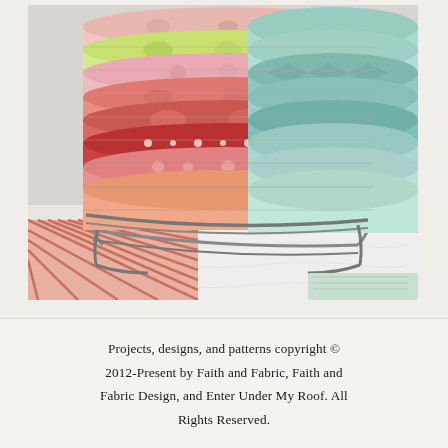[Figure (photo): A metal wire rack/basket holding multiple rolls of colorful quilting fabric stacked horizontally. The fabrics feature floral, geometric, and patterned designs in pink, coral, red, turquoise/mint, green, and white colors. The rack sits on what appears to be a quilted white surface with a patterned fabric visible at the bottom left corner.]
Projects, designs, and patterns copyright © 2012-Present by Faith and Fabric, Faith and Fabric Design, and Enter Under My Roof. All Rights Reserved.